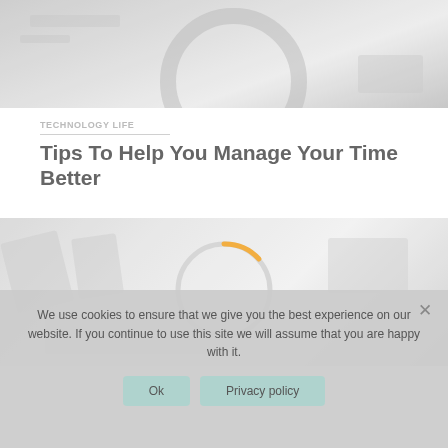[Figure (photo): Top portion of a webpage showing a blurred/faded desk/clock photo header image]
TECHNOLOGY LIFE
Tips To Help You Manage Your Time Better
[Figure (other): Loading spinner circle with an orange arc segment, overlaid on a faded tech/devices photo]
We use cookies to ensure that we give you the best experience on our website. If you continue to use this site we will assume that you are happy with it.
Ok    Privacy policy